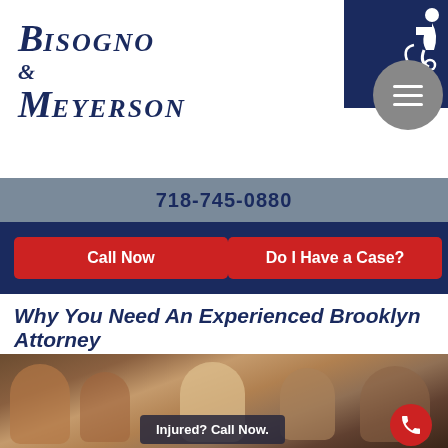[Figure (logo): Bisogno & Meyerson law firm logo in dark navy serif italic font]
[Figure (infographic): Accessibility icon (wheelchair/person) and hamburger menu circle on dark navy and grey background]
718-745-0880
Call Now
Do I Have a Case?
Why You Need An Experienced Brooklyn Attorney
[Figure (photo): Photo of people in a courtroom, looking serious. Foreground shows older woman in beige jacket and a blonde woman. Background shows several other people.]
Injured? Call Now.